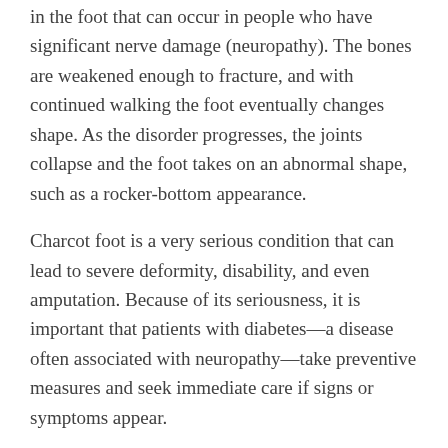in the foot that can occur in people who have significant nerve damage (neuropathy). The bones are weakened enough to fracture, and with continued walking the foot eventually changes shape. As the disorder progresses, the joints collapse and the foot takes on an abnormal shape, such as a rocker-bottom appearance.
Charcot foot is a very serious condition that can lead to severe deformity, disability, and even amputation. Because of its seriousness, it is important that patients with diabetes—a disease often associated with neuropathy—take preventive measures and seek immediate care if signs or symptoms appear.
Causes:
Charcot foot develops as a result of neuropathy, which decreases sensation and the ability to feel temperature, pain, or trauma. Because of diminished sensation, the